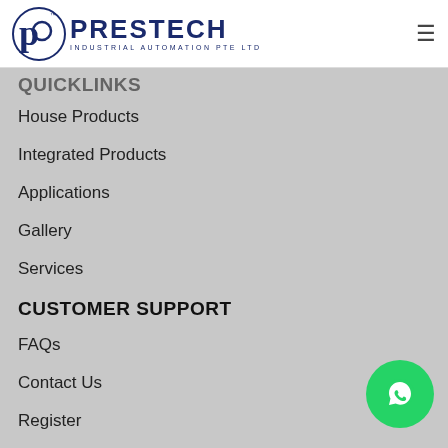Prestech Industrial Automation Pte Ltd
QUICKLINKS
House Products
Integrated Products
Applications
Gallery
Services
CUSTOMER SUPPORT
FAQs
Contact Us
Register
ABOUT US
Company Milestone
News & Events
[Figure (logo): WhatsApp contact button (green circle with chat icon)]